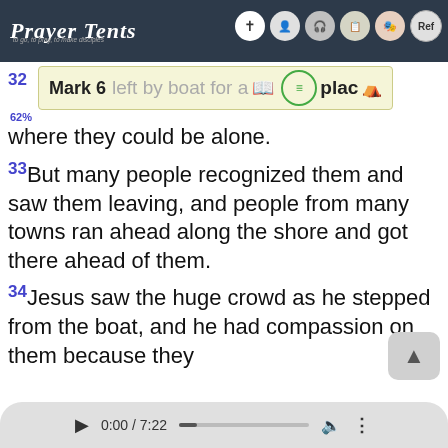Prayer Tents
32 So they left by boat for a quiet place where they could be alone. Mark 6
33 But many people recognized them and saw them leaving, and people from many towns ran ahead along the shore and got there ahead of them.
34 Jesus saw the huge crowd as he stepped from the boat, and he had compassion on them because they
0:00 / 7:22